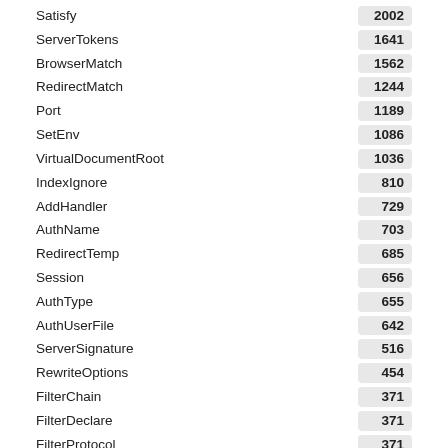| Name | Count |
| --- | --- |
| Satisfy | 2002 |
| ServerTokens | 1641 |
| BrowserMatch | 1562 |
| RedirectMatch | 1244 |
| Port | 1189 |
| SetEnv | 1086 |
| VirtualDocumentRoot | 1036 |
| IndexIgnore | 810 |
| AddHandler | 729 |
| AuthName | 703 |
| RedirectTemp | 685 |
| Session | 656 |
| AuthType | 655 |
| AuthUserFile | 642 |
| ServerSignature | 516 |
| RewriteOptions | 454 |
| FilterChain | 371 |
| FilterDeclare | 371 |
| FilterProtocol | 371 |
| FilterProvider | 371 |
| AllowOverride | 359 |
| AuthGroupFile | 307 |
| ForceType | 296 |
| AddOutputFilter | 207 |
| SetHandler | 200 |